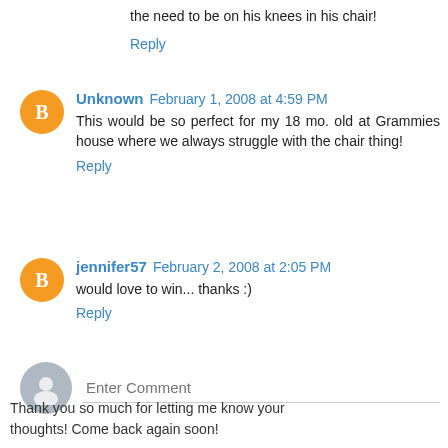the need to be on his knees in his chair!
Reply
Unknown  February 1, 2008 at 4:59 PM
This would be so perfect for my 18 mo. old at Grammies house where we always struggle with the chair thing!
Reply
jennifer57  February 2, 2008 at 2:05 PM
would love to win... thanks :)
Reply
Enter Comment
Thank you so much for letting me know your thoughts! Come back again soon!